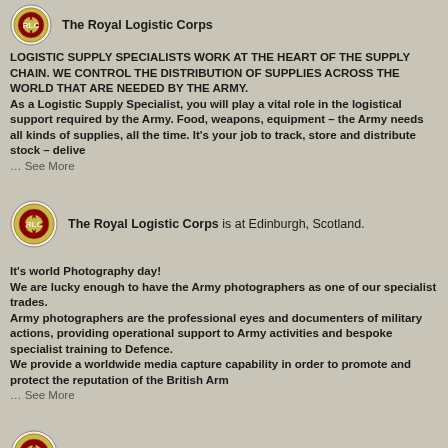[Figure (logo): Royal Logistic Corps badge/emblem icon]
The Royal Logistic Corps
LOGISTIC SUPPLY SPECIALISTS WORK AT THE HEART OF THE SUPPLY CHAIN. WE CONTROL THE DISTRIBUTION OF SUPPLIES ACROSS THE WORLD THAT ARE NEEDED BY THE ARMY. As a Logistic Supply Specialist, you will play a vital role in the logistical support required by the Army. Food, weapons, equipment – the Army needs all kinds of supplies, all the time. It's your job to track, store and distribute stock – delive ... See More
[Figure (logo): Royal Logistic Corps badge/emblem icon]
The Royal Logistic Corps is at Edinburgh, Scotland.
It's world Photography day! We are lucky enough to have the Army photographers as one of our specialist trades. Army photographers are the professional eyes and documenters of military actions, providing operational support to Army activities and bespoke specialist training to Defence. We provide a worldwide media capture capability in order to promote and protect the reputation of the British Arm ... See More
[Figure (logo): Royal Logistic Corps badge/emblem icon]
The Royal Logistic Corps
Good luck to all those who are receiving their A level results today. Did you know you don't need a degree to become an officer in The Royal Logistic Corps?